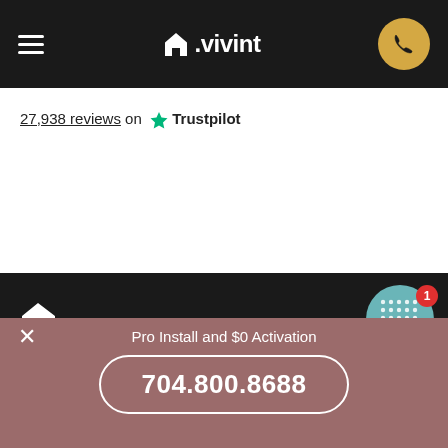vivint (navigation bar with hamburger menu and phone button)
27,938 reviews on Trustpilot
[Figure (logo): Vivint house logo mark in white on dark background]
[Figure (illustration): Teal chat/assistant bubble icon with red notification badge showing '1']
Products and Services
Support
Pro Install and $0 Activation
704.800.8688